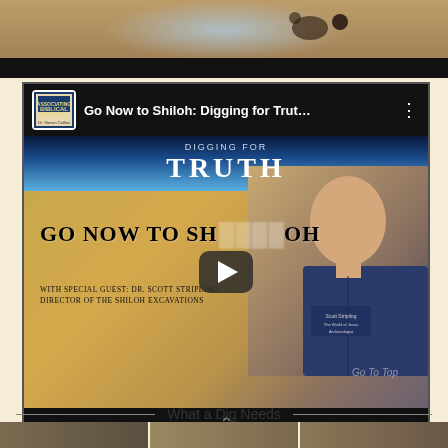[Figure (screenshot): Top strip: archaeological dig site photo with artifacts visible]
[Figure (screenshot): Embedded YouTube video thumbnail showing 'Go Now to Shiloh: Digging for Trut...' with play button overlay. Features Dr. Scott Stripling, Director of the Shiloh Excavations. Text on thumbnail: 'DIGGING FOR TRUTH', 'GO NOW TO SHILOH', 'WITH SPECIAL GUEST: DR. SCOTT STRIPLING, DIRECTOR OF THE SHILOH EXCAVATIONS'. Dark top and bottom bars typical of YouTube embed.]
What a Dig Needs
[Figure (photo): Bottom strip: partial photo strip visible at very bottom of page]